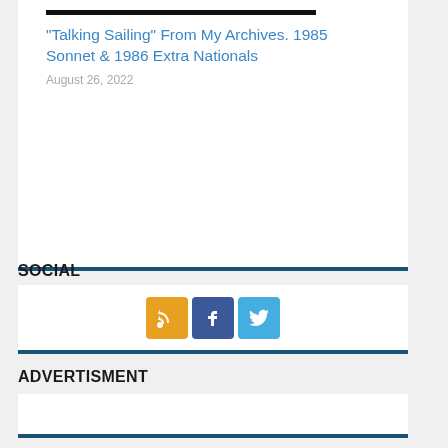“Talking Sailing” From My Archives. 1985 Sonnet & 1986 Extra Nationals
August 26, 2022
SOCIAL
[Figure (infographic): Three social media icons: RSS (orange/yellow), Facebook (blue), Twitter (light blue)]
ADVERTISMENT
ADVERTISMENT